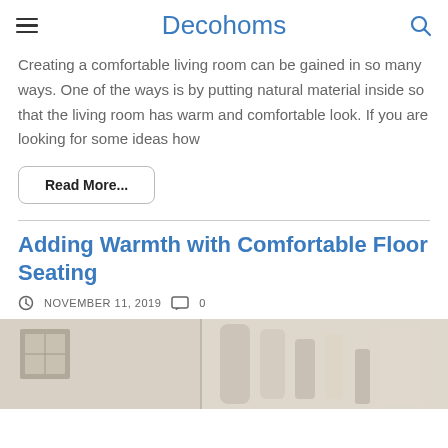Decohoms
Creating a comfortable living room can be gained in so many ways. One of the ways is by putting natural material inside so that the living room has warm and comfortable look. If you are looking for some ideas how
Read More...
Adding Warmth with Comfortable Floor Seating
NOVEMBER 11, 2019   0
[Figure (photo): Partial view of a home interior showing shelves with decorative items]